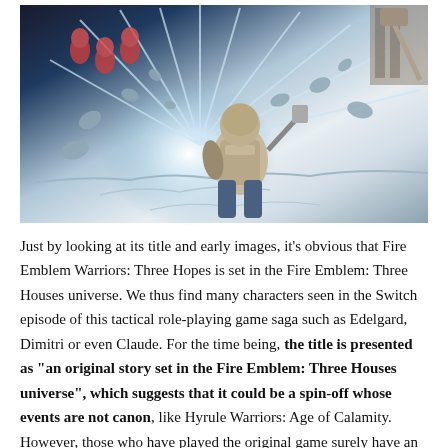[Figure (illustration): Action game artwork showing an armored warrior character leaping or fighting amid a burst of light, ice/snow fragments, and rubble. Additional characters visible in background.]
Just by looking at its title and early images, it's obvious that Fire Emblem Warriors: Three Hopes is set in the Fire Emblem: Three Houses universe. We thus find many characters seen in the Switch episode of this tactical role-playing game saga such as Edelgard, Dimitri or even Claude. For the time being, the title is presented as "an original story set in the Fire Emblem: Three Houses universe", which suggests that it could be a spin-off whose events are not canon, like Hyrule Warriors: Age of Calamity. However, those who have played the original game surely have an